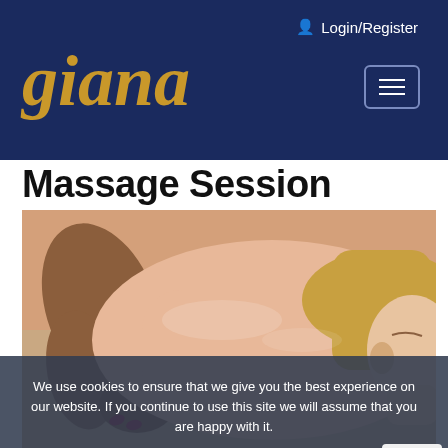Login/Register
giana
Massage Session
[Figure (photo): A woman receiving a back massage from a therapist's hands, close-up photo showing the therapist's hands pressing on the woman's back while she rests with eyes closed.]
We use cookies to ensure that we give you the best experience on our website. If you continue to use this site we will assume that you are happy with it.
Ok   Cookie Policy